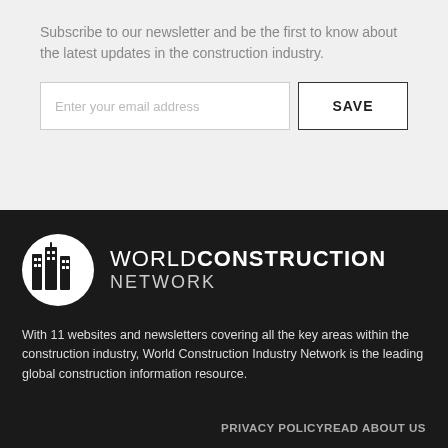Subscribe to our newsletter and be the first to know about the latest updates in the construction industry.
[Figure (infographic): Email subscription form with a text input field labeled 'Enter your email address' and a SAVE button]
[Figure (logo): World Construction Network logo — circular icon with building silhouette and text WORLDCONSTRUCTION NETWORK]
With 11 websites and newsletters covering all the key areas within the construction industry, World Construction Industry Network is the leading global construction information resource.
PRIVACY POLICYREAD ABOUT US